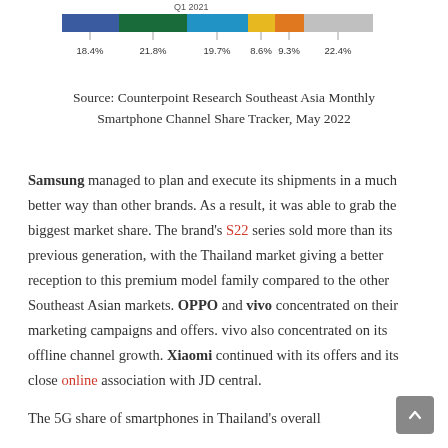[Figure (stacked-bar-chart): Q1 2021]
Source: Counterpoint Research Southeast Asia Monthly Smartphone Channel Share Tracker, May 2022
Samsung managed to plan and execute its shipments in a much better way than other brands. As a result, it was able to grab the biggest market share. The brand's S22 series sold more than its previous generation, with the Thailand market giving a better reception to this premium model family compared to the other Southeast Asian markets. OPPO and vivo concentrated on their marketing campaigns and offers. vivo also concentrated on its offline channel growth. Xiaomi continued with its offers and its close online association with JD central.
The 5G share of smartphones in Thailand's overall